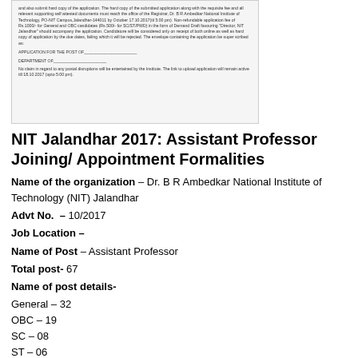[Figure (screenshot): Scanned document snippet showing application instructions for NIT Jalandhar, including text about hard copy submission, application fee, demand draft, and fields for APPLICATION FOR THE POST OF and DEPARTMENT OF, with a note about postal delays.]
NIT Jalandhar 2017: Assistant Professor Joining/ Appointment Formalities
Name of the organization – Dr. B R Ambedkar National Institute of Technology (NIT) Jalandhar
Advt No.  – 10/2017
Job Location –
Name of Post – Assistant Professor
Total post- 67
Name of post details-
General – 32
OBC – 19
SC – 08
ST – 06
PWD - 02